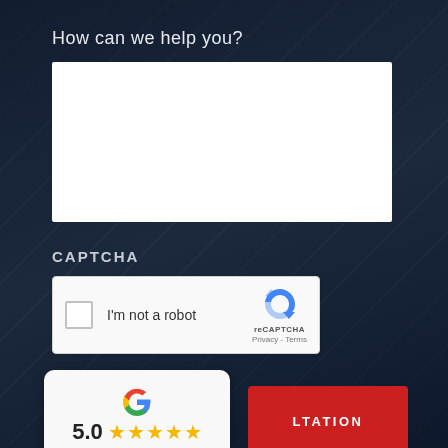How can we help you?
[Figure (screenshot): White textarea input box for user to type a message]
CAPTCHA
[Figure (screenshot): reCAPTCHA widget with checkbox, 'I'm not a robot' text, and reCAPTCHA logo with Privacy and Terms links]
[Figure (infographic): Google review card showing 5.0 rating with 5 gold stars and 'Read our 77 reviews' link]
[Figure (screenshot): Partially visible red button with text 'LTATION' (Free Consultation button cut off)]